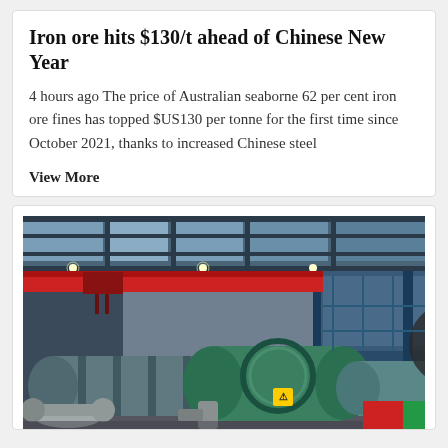Iron ore hits $130/t ahead of Chinese New Year
4 hours ago The price of Australian seaborne 62 per cent iron ore fines has topped $US130 per tonne for the first time since October 2021, thanks to increased Chinese steel
View More
[Figure (photo): Industrial factory interior showing large machinery including what appears to be a ball mill or industrial grinder in green, with overhead red crane, blue steel structure framework, and various industrial equipment in a large warehouse-style facility.]